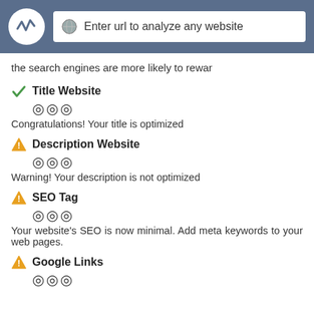Enter url to analyze any website
the search engines are more likely to rewar
Title Website
Congratulations! Your title is optimized
Description Website
Warning! Your description is not optimized
SEO Tag
Your website's SEO is now minimal. Add meta keywords to your web pages.
Google Links